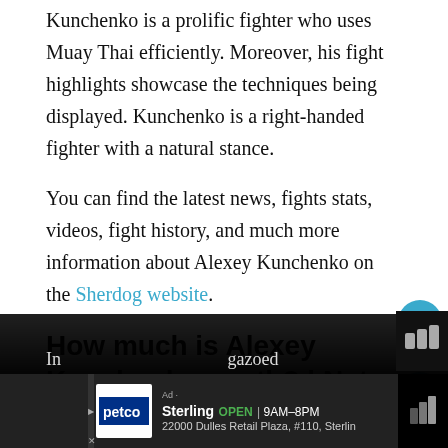Kunchenko is a prolific fighter who uses Muay Thai efficiently. Moreover, his fight highlights showcase the techniques being displayed. Kunchenko is a right-handed fighter with a natural stance.
You can find the latest news, fights stats, videos, fight history, and much more information about Alexey Kunchenko on the Sherdog website.
How much is Alexey Kunchenko worth? | Net Worth & Salary
Kunchenko's net worth is a highly discussed matter...